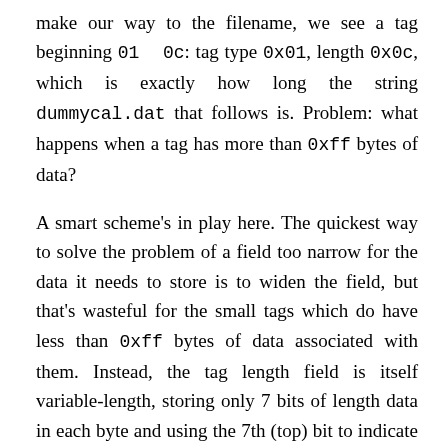make our way to the filename, we see a tag beginning 01 0c: tag type 0x01, length 0x0c, which is exactly how long the string dummycal.dat that follows is. Problem: what happens when a tag has more than 0xff bytes of data?
A smart scheme's in play here. The quickest way to solve the problem of a field too narrow for the data it needs to store is to widen the field, but that's wasteful for the small tags which do have less than 0xff bytes of data associated with them. Instead, the tag length field is itself variable-length, storing only 7 bits of length data in each byte and using the 7th (top) bit to indicate if another length byte follows. In reality, the first length byte only stores 6 bits, as the 6th bit is dedicated to something...